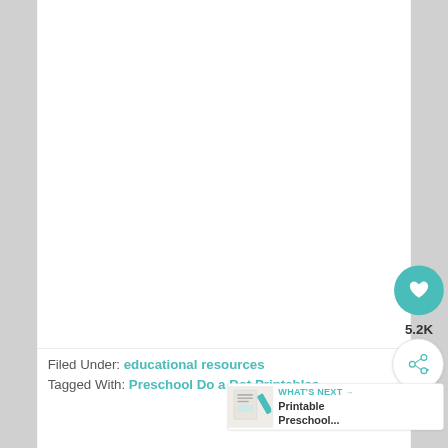[Figure (other): Blank white content area — main document body (image/content not visible in this crop)]
Filed Under: educational resources
Tagged With: Preschool Do a Dot Printables
[Figure (infographic): Social save/share widget: teal heart button with 5.2K count and share icon button]
[Figure (infographic): WHAT'S NEXT → Printable Preschool... card with thumbnail image]